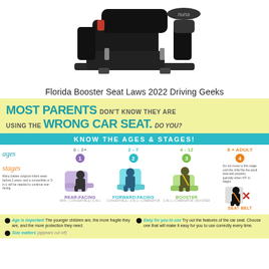[Figure (photo): A Nuna brand black car seat / booster seat shown from a side-angle view against a white background]
Florida Booster Seat Laws 2022 Driving Geeks
[Figure (infographic): Infographic titled 'Most Parents Don't Know They Are Using the Wrong Car Seat. Do You? Know the Ages & Stages!' showing 4 car seat stages by age: Stage 1 (0-2+) Rear-Facing, Stage 2 (2-7) Forward-Facing, Stage 3 (4-12) Booster, Stage 4 (8+ Adult) Seat Belt, with illustrations of children in each stage]
Age is important The younger children are, the more fragile they are, and the more protection they need.
Easy for you to use Try out the features of the car seat. Choose one that will make it easy for you to use correctly every time.